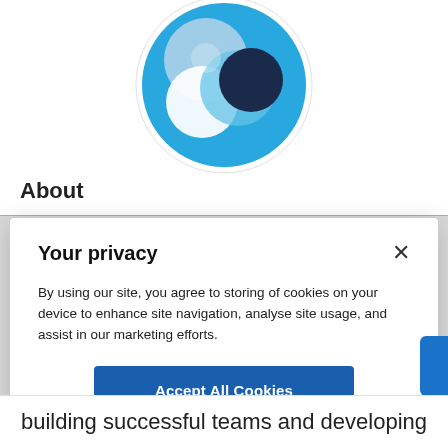[Figure (logo): Circular logo with overlapping blue, light blue, white, and dark navy circles on a bright blue circular background]
About
Your privacy
By using our site, you agree to storing of cookies on your device to enhance site navigation, analyse site usage, and assist in our marketing efforts.
Accept All Cookies
Cookies Settings
building successful teams and developing